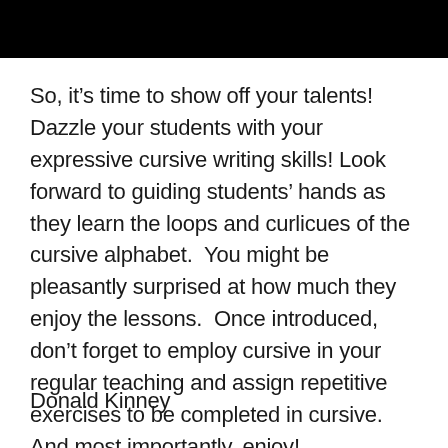[Figure (other): Black redacted header bar at the top of the page]
So, it’s time to show off your talents!  Dazzle your students with your expressive cursive writing skills! Look forward to guiding students’ hands as they learn the loops and curlicues of the cursive alphabet.  You might be pleasantly surprised at how much they enjoy the lessons.  Once introduced, don’t forget to employ cursive in your regular teaching and assign repetitive exercises to be completed in cursive.  And most importantly, enjoy!
Donald Kinney